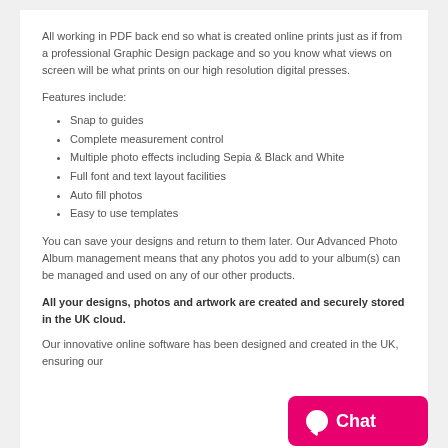All working in PDF back end so what is created online prints just as if from a professional Graphic Design package and so you know what views on screen will be what prints on our high resolution digital presses.
Features include:
Snap to guides
Complete measurement control
Multiple photo effects including Sepia & Black and White
Full font and text layout facilities
Auto fill photos
Easy to use templates
You can save your designs and return to them later. Our Advanced Photo Album management means that any photos you add to your album(s) can be managed and used on any of our other products.
All your designs, photos and artwork are created and securely stored in the UK cloud.
Our innovative online software has been designed and created in the UK, ensuring our